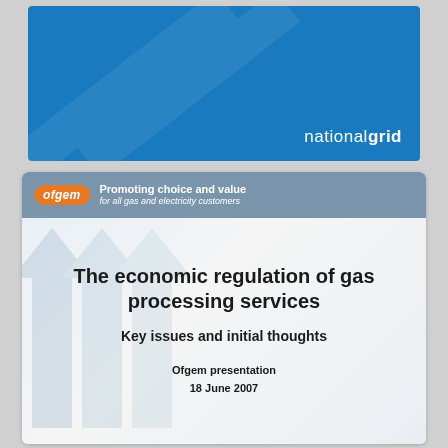[Figure (logo): National Grid branded blue slide cover — solid blue background with 'nationalgrid' logo text in white at bottom right]
[Figure (screenshot): Ofgem presentation cover slide. Header bar shows Ofgem orange pill logo and tagline 'Promoting choice and value for all gas and electricity customers'. Main content area with decorative chevron background and text: 'The economic regulation of gas processing services', 'Key issues and initial thoughts', 'Ofgem presentation 18 June 2007']